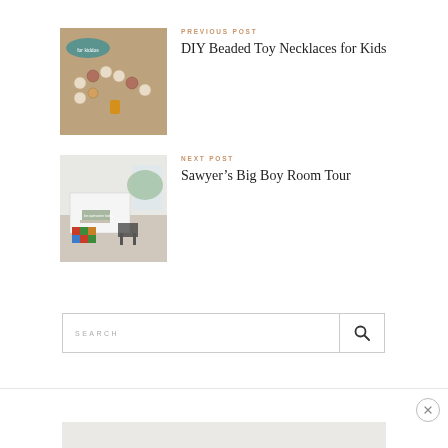[Figure (photo): Photo of DIY beaded toy necklaces for kids on a wooden surface]
PREVIOUS POST
DIY Beaded Toy Necklaces for Kids
[Figure (photo): Photo of a boy's room with a desk and colorful decorations]
NEXT POST
Sawyer's Big Boy Room Tour
SEARCH